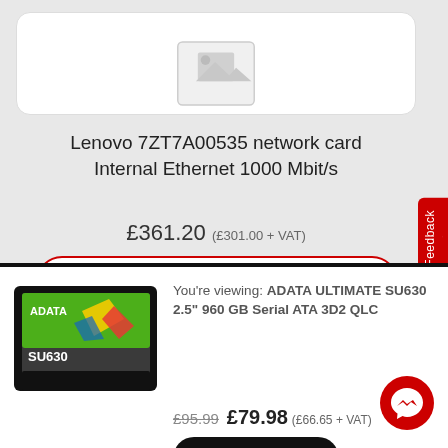[Figure (photo): Placeholder product image icon (grey image placeholder)]
Lenovo 7ZT7A00535 network card Internal Ethernet 1000 Mbit/s
£361.20 (£301.00 + VAT)
Quick View
Feedback
[Figure (photo): ADATA SU630 SSD product photo]
You're viewing: ADATA ULTIMATE SU630 2.5" 960 GB Serial ATA 3D2 QLC
£95.99  £79.98 (£66.65 + VAT)
Add to basket